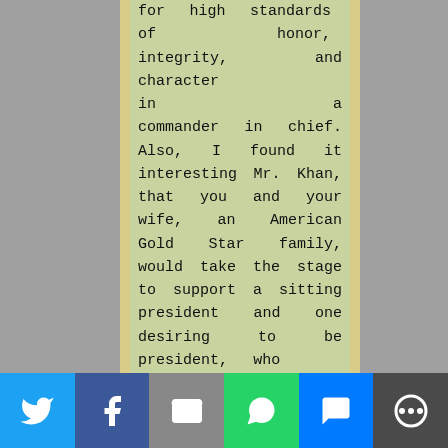for high standards of honor, integrity, and character in a commander in chief. Also, I found it interesting Mr. Khan, that you and your wife, an American Gold Star family, would take the stage to support a sitting president and one desiring to be president, who had abandoned Americans in a combat zone and lied about it...
(read it all)
[Figure (infographic): Social sharing bar with Twitter, Facebook, Email, WhatsApp, SMS, and More buttons]